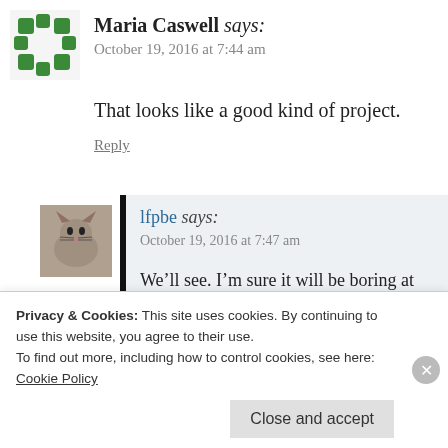Maria Caswell says:
October 19, 2016 at 7:44 am
That looks like a good kind of project.
Reply
[Figure (photo): Avatar photo of a cat]
lfpbe says:
October 19, 2016 at 7:47 am
We’ll see. I’m sure it will be boring at time product done and hope that excitement will
Privacy & Cookies: This site uses cookies. By continuing to use this website, you agree to their use.
To find out more, including how to control cookies, see here: Cookie Policy
Close and accept